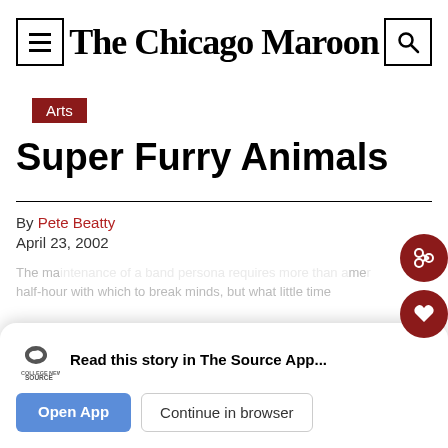The Chicago Maroon
Arts
Super Furry Animals
By Pete Beatty
April 23, 2002
Read this story in The Source App...
Open App   Continue in browser